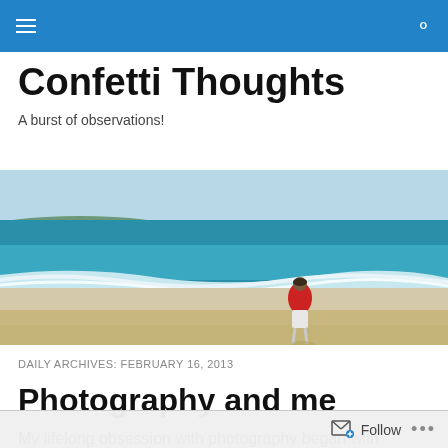Confetti Thoughts — navigation bar with hamburger menu and search icon
Confetti Thoughts
A burst of observations!
[Figure (photo): Beach scene with ocean waves and a person in a red jacket standing at the water's edge]
DAILY ARCHIVES: FEBRUARY 16, 2013
Photography and me
My lifelong obsession with photography began with
Follow ...